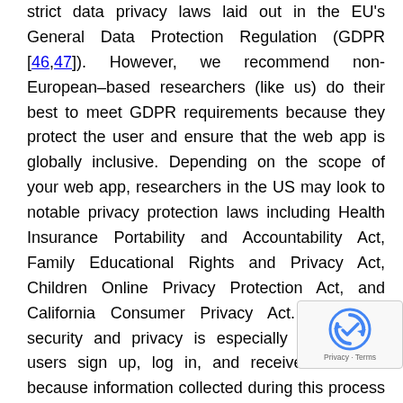strict data privacy laws laid out in the EU's General Data Protection Regulation (GDPR [46,47]). However, we recommend non-European–based researchers (like us) do their best to meet GDPR requirements because they protect the user and ensure that the web app is globally inclusive. Depending on the scope of your web app, researchers in the US may look to notable privacy protection laws including Health Insurance Portability and Accountability Act, Family Educational Rights and Privacy Act, Children Online Privacy Protection Act, and California Consumer Privacy Act. Web app security and privacy is especially important if users sign up, log in, and receive a service because information collected during this process may include personal identifiers like email addresses, phone numbers, mailing addresses, and other personal information. In our case, users can into ShellCast to create a profile and browse...
[Figure (other): reCAPTCHA badge overlay in bottom-right corner showing the reCAPTCHA logo and 'Privacy - Terms' text]